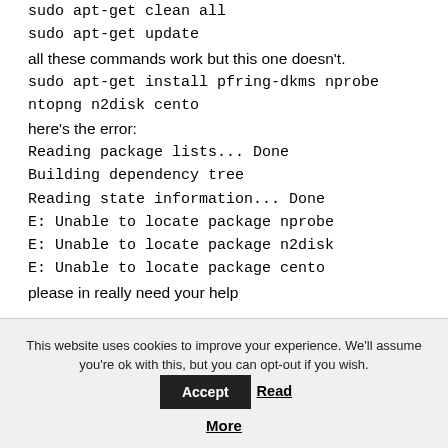sudo apt-get clean all
sudo apt-get update
all these commands work but this one doesn't.
sudo apt-get install pfring-dkms nprobe ntopng n2disk cento
here's the error:
Reading package lists... Done
Building dependency tree
Reading state information... Done
E: Unable to locate package nprobe
E: Unable to locate package n2disk
E: Unable to locate package cento
please in really need your help
This website uses cookies to improve your experience. We'll assume you're ok with this, but you can opt-out if you wish. Accept Read More